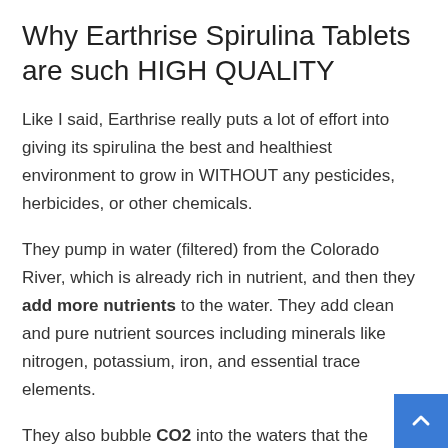Why Earthrise Spirulina Tablets are such HIGH QUALITY
Like I said, Earthrise really puts a lot of effort into giving its spirulina the best and healthiest environment to grow in WITHOUT any pesticides, herbicides, or other chemicals.
They pump in water (filtered) from the Colorado River, which is already rich in nutrient, and then they add more nutrients to the water. They add clean and pure nutrient sources including minerals like nitrogen, potassium, iron, and essential trace elements.
They also bubble CO2 into the waters that the spirulina grows. This can be very important and necessary for healthy growth. Spirulina uses CO2 from the air kind of